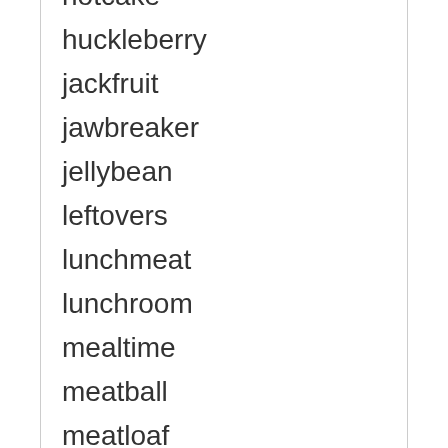hotcake
huckleberry
jackfruit
jawbreaker
jellybean
leftovers
lunchmeat
lunchroom
mealtime
meatball
meatloaf
milkshake
nutshell
oatmeal